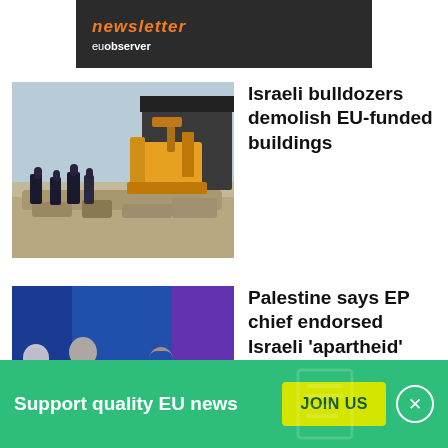[Figure (screenshot): EUobserver newsletter banner with orange italic 'newsletter' text and white 'euobserver' brand text on dark background]
[Figure (photo): Israeli bulldozer demolishing buildings with soldiers standing nearby, rocky rubble in foreground]
Israeli bulldozers demolish EU-funded buildings
[Figure (photo): Conference panel discussion with several people seated, blue and purple lighting backdrop]
Palestine says EP chief endorsed Israeli 'apartheid'
Support quality EU news
JOIN US